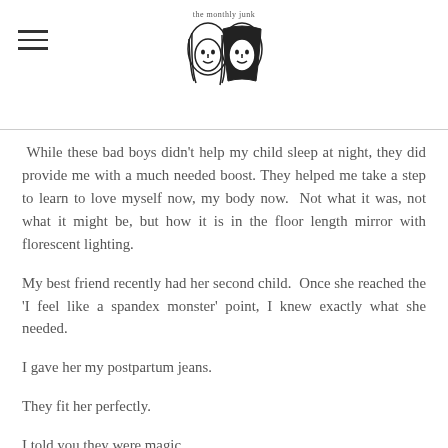the monthly junk
While these bad boys didn’t help my child sleep at night, they did provide me with a much needed boost. They helped me take a step to learn to love myself now, my body now.  Not what it was, not what it might be, but how it is in the floor length mirror with florescent lighting.
My best friend recently had her second child.  Once she reached the ‘I feel like a spandex monster’ point, I knew exactly what she needed.
I gave her my postpartum jeans.
They fit her perfectly.
I told you they were magic.
[Figure (other): Tweet button with Twitter bird logo]